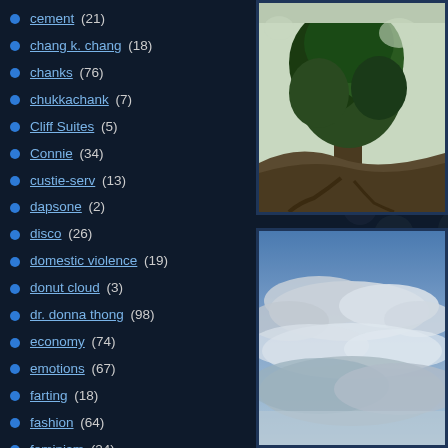cement (21)
chang k. chang (18)
chanks (76)
chukkachank (7)
Cliff Suites (5)
Connie (34)
custie-serv (13)
dapsone (2)
disco (26)
domestic violence (19)
donut cloud (3)
dr. donna thong (98)
economy (74)
emotions (67)
farting (18)
fashion (64)
feminism (24)
filterofloathing (27)
flakes (19)
Flying F-suit (9)
geo-genealogical (30)
[Figure (photo): Photo of a large tree with exposed roots on a hillside, with foliage visible against a light sky]
[Figure (photo): Photo of a cloudy sky with blue sky visible between white and grey clouds]